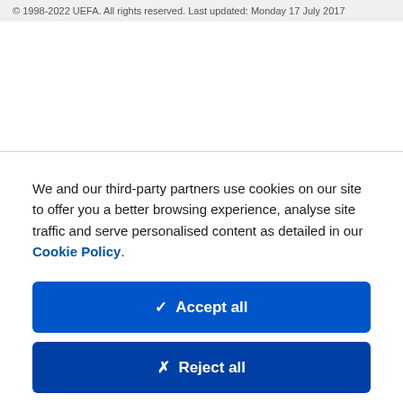© 1998-2022 UEFA. All rights reserved. Last updated: Monday 17 July 2017
We and our third-party partners use cookies on our site to offer you a better browsing experience, analyse site traffic and serve personalised content as detailed in our Cookie Policy.
✓  Accept all
✗  Reject all
Cookie settings >